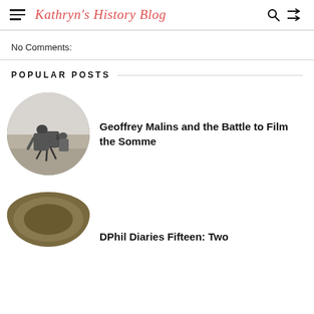Kathryn's History Blog
No Comments:
POPULAR POSTS
[Figure (photo): Black and white circular photo of a WWI-era soldier or cameraman operating a film camera on a tripod in an open field]
Geoffrey Malins and the Battle to Film the Somme
[Figure (photo): Circular cropped photo showing a brown/olive WWI-era military helmet or artifact]
DPhil Diaries Fifteen: Two